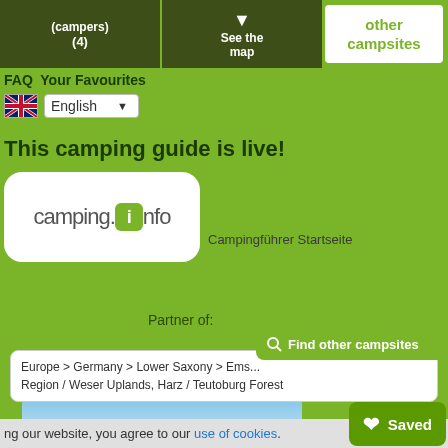[Figure (screenshot): Top navigation bar with two dark green buttons: one showing '(campers) (4)' and another showing a map pin icon and 'See the map'. On the right is a white box labeled 'other campsites'.]
FAQ Your Favourites
[Figure (screenshot): Language selector row with UK flag icon and a dropdown showing 'English']
This camping guide is live!
[Figure (logo): camping.info logo — white rounded rectangle containing 'camping.' text, a green square with 'i', and 'nfo' text]
Campingführer Startseite
Partner of:
[Figure (screenshot): Green button reading 'Find other campsites' with a search/magnifier icon]
Europe > Germany > Lower Saxony > Ems... Region / Weser Uplands, Harz / Teutoburg Forest
[Figure (photo): Blue sky with white clouds, partial view]
[Figure (screenshot): Green 'Saved' button with a white heart icon]
ng our website, you agree to our use of cookies.